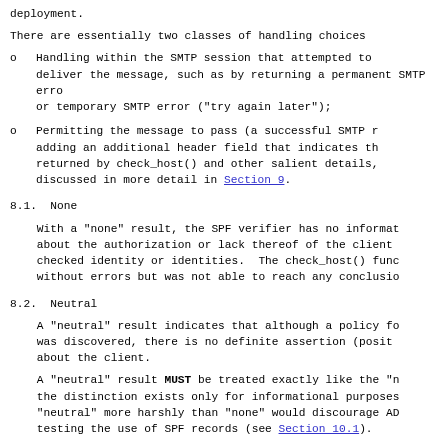deployment.
There are essentially two classes of handling choices
Handling within the SMTP session that attempted to deliver the message, such as by returning a permanent SMTP error or temporary SMTP error ("try again later");
Permitting the message to pass (a successful SMTP response), adding an additional header field that indicates the result returned by check_host() and other salient details, as discussed in more detail in Section 9.
8.1.  None
With a "none" result, the SPF verifier has no information about the authorization or lack thereof of the client for the checked identity or identities.  The check_host() function completed without errors but was not able to reach any conclusion.
8.2.  Neutral
A "neutral" result indicates that although a policy for the domain was discovered, there is no definite assertion (positive or negative) about the client.
A "neutral" result MUST be treated exactly like the "none" result; the distinction exists only for informational purposes. Treating "neutral" more harshly than "none" would discourage ADministrators testing the use of SPF records (see Section 10.1).